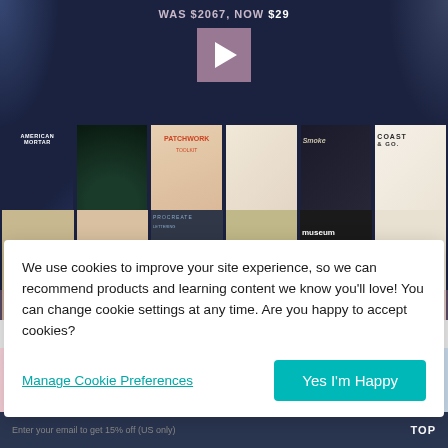[Figure (screenshot): Video player showing design bundle products. Price label: 'WAS $2067, NOW $29'. Play button visible. Thumbnails include American Mortar, Patchwork Toolkit, Smoke, Coast & Go, museum, and other design products. Progress bar shows 2:04.]
[Figure (screenshot): Image strip showing Procreate Lettering Garden Edition flower gallery products with pink floral, dark background with teal text, and purple flower gallery sections.]
We use cookies to improve your site experience, so we can recommend products and learning content we know you'll love! You can change cookie settings at any time. Are you happy to accept cookies?
Manage Cookie Preferences
Yes I'm Happy
TOP